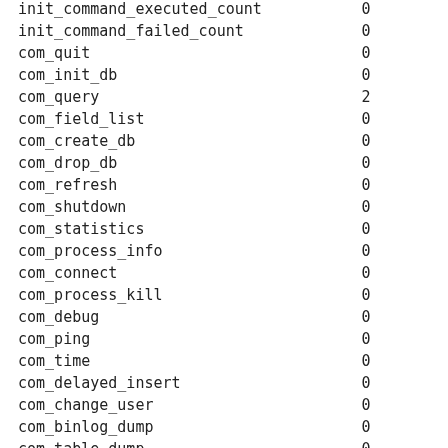| Variable | Value |
| --- | --- |
| init_command_executed_count | 0 |
| init_command_failed_count | 0 |
| com_quit | 0 |
| com_init_db | 0 |
| com_query | 2 |
| com_field_list | 0 |
| com_create_db | 0 |
| com_drop_db | 0 |
| com_refresh | 0 |
| com_shutdown | 0 |
| com_statistics | 0 |
| com_process_info | 0 |
| com_connect | 0 |
| com_process_kill | 0 |
| com_debug | 0 |
| com_ping | 0 |
| com_time | 0 |
| com_delayed_insert | 0 |
| com_change_user | 0 |
| com_binlog_dump | 0 |
| com_table_dump | 0 |